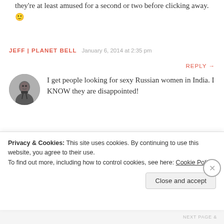they're at least amused for a second or two before clicking away. 🙂
JEFF | PLANET BELL   January 6, 2014 at 2:35 pm
REPLY →
I get people looking for sexy Russian women in India. I KNOW they are disappointed!
JENNIFER WINDRAM
January 7, 2014 at 10:30 am   REPLY
Privacy & Cookies: This site uses cookies. By continuing to use this website, you agree to their use.
To find out more, including how to control cookies, see here: Cookie Policy
Close and accept